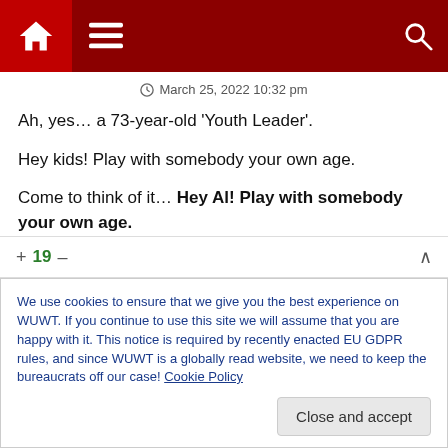Navigation bar with home, menu, and search icons
March 25, 2022 10:32 pm
Ah, yes… a 73-year-old 'Youth Leader'.

Hey kids! Play with somebody your own age.

Come to think of it… Hey Al! Play with somebody your own age.

And oh, by the way, how much did these kids pay to attend?
+ 19 −
We use cookies to ensure that we give you the best experience on WUWT. If you continue to use this site we will assume that you are happy with it. This notice is required by recently enacted EU GDPR rules, and since WUWT is a globally read website, we need to keep the bureaucrats off our case! Cookie Policy

Close and accept